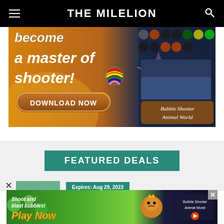THE MILELION
[Figure (illustration): Game advertisement banner for 'Bubble Shooter Animal World' showing text 'become a master of shooter!' with a DOWNLOAD NOW button, a pink starfish character, colorful bubbles, and game screenshots on the right side.]
FEATURED DEALS
[Figure (illustration): Partial view of a card thumbnail (landscape photo) with an expiry date badge 'Expires: Aug 29, 2023' in teal green.]
[Figure (illustration): Bottom banner ad for 'Bubble Shooter Animal World' game showing 'Shoot and blast bubbles! Play Now' text with game characters and a close button (X) in the top right.]